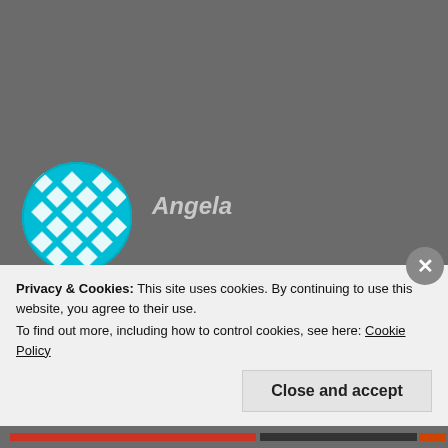[Figure (illustration): Circular avatar with teal/cyan geometric diamond pattern on white background]
Angela
DECEMBER 16, 2013 AT 6:25 PM
Hi Matt. Really enjoyed this book. Excellent story, well written and more realistic than the usual 'hero' type book. Emotionally exhausted..phew :).
Privacy & Cookies: This site uses cookies. By continuing to use this website, you agree to their use.
To find out more, including how to control cookies, see here: Cookie Policy
Close and accept